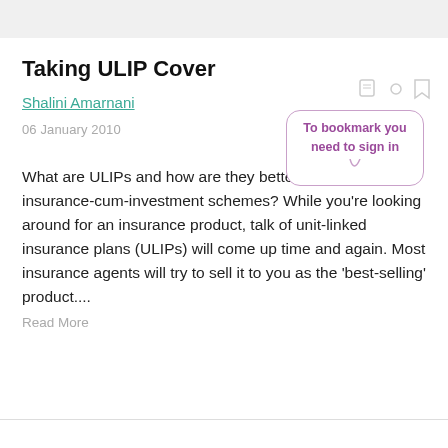Taking ULIP Cover
Shalini Amarnani
06 January 2010
To bookmark you need to sign in
What are ULIPs and how are they better than older insurance-cum-investment schemes? While you're looking around for an insurance product, talk of unit-linked insurance plans (ULIPs) will come up time and again. Most insurance agents will try to sell it to you as the ‘best-selling’ product....
Read More